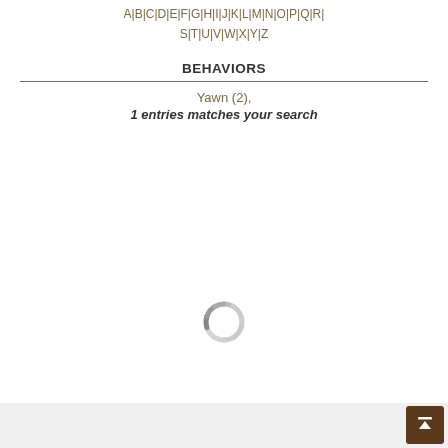A|B|C|D|E|F|G|H|I|J|K|L|M|N|O|P|Q|R|S|T|U|V|W|X|Y|Z
BEHAVIORS
Yawn (2),
1 entries matches your search
[Figure (other): Loading spinner icon — a circular dashed ring in gray]